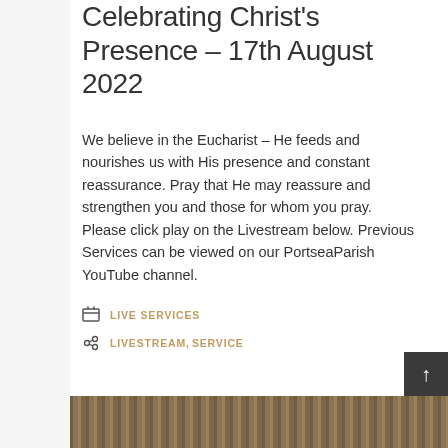Celebrating Christ's Presence – 17th August 2022
We believe in the Eucharist – He feeds and nourishes us with His presence and constant reassurance. Pray that He may reassure and strengthen you and those for whom you pray. Please click play on the Livestream below. Previous Services can be viewed on our PortseaParish YouTube channel.
LIVE SERVICES
LIVESTREAM, SERVICE